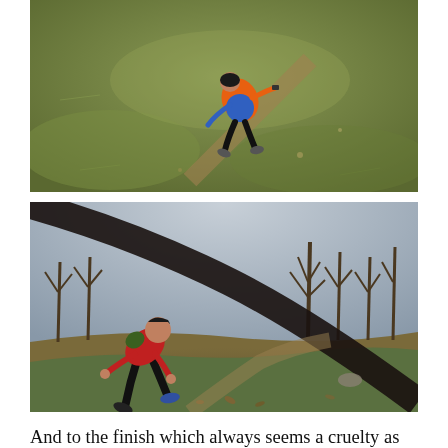[Figure (photo): Aerial/overhead view of a runner in an orange and blue top running down a grassy slope trail, shot with a wide/fisheye lens.]
[Figure (photo): Wide-angle fisheye lens photo of a runner in a red top bending forward on a dirt trail through bare winter woodland.]
And to the finish which always seems a cruelty as you run past the back of the Vigo Rugby Club, hearing the sound of the runners and supporters. There are some lovely trails